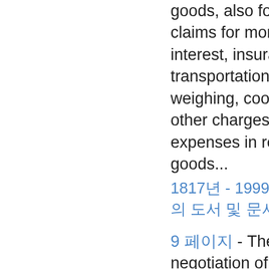goods, also for all lawful claims for money advanced, interest, insurance, transportation, labor, weighing, coopering and other charges and expenses in relation to such goods...
1817년 - 1999년부터 135개의 도서 및 문서
9 페이지 - The validity of the negotiation of a bill is not impaired by the fact that such negotiation was a breach of duty...
1778년 - 2005년부터 258개의 도서 및 문서
1 페이지 - Person" includes a corporation or partnership or two or more persons having a